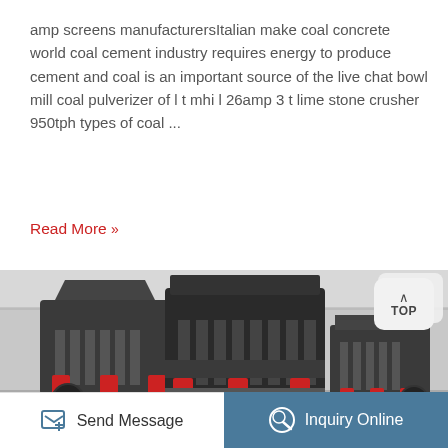amp screens manufacturersItalian make coal concrete world coal cement industry requires energy to produce cement and coal is an important source of the live chat bowl mill coal pulverizer of l t mhi l 26amp 3 t lime stone crusher 950tph types of coal ...
Read More »
[Figure (photo): Industrial cone crushers in a manufacturing facility. Large black heavy-duty cone crushers with red hydraulic components and black flywheels on the lower portions, arranged in a row inside an industrial warehouse.]
Send Message
Inquiry Online